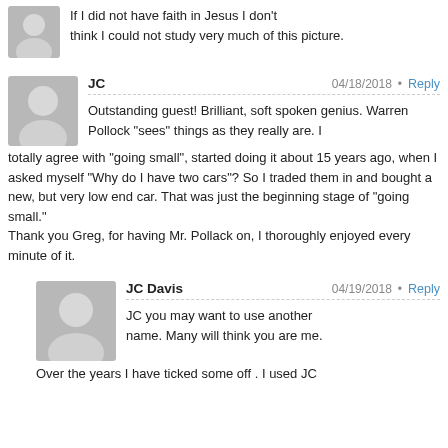[Figure (illustration): Partial gray avatar image (silhouette of a person) at top left]
If I did not have faith in Jesus I don't think I could not study very much of this picture.
[Figure (illustration): Gray avatar/silhouette image for user JC]
JC
04/18/2018 • Reply
Outstanding guest! Brilliant, soft spoken genius. Warren Pollock “sees” things as they really are. I totally agree with “going small”, started doing it about 15 years ago, when I asked myself “Why do I have two cars”? So I traded them in and bought a new, but very low end car. That was just the beginning stage of “going small.” Thank you Greg, for having Mr. Pollack on, I thoroughly enjoyed every minute of it.
[Figure (illustration): Gray avatar/silhouette image for user JC Davis]
JC Davis
04/19/2018 • Reply
JC you may want to use another name. Many will think you are me. Over the years I have ticked some off . I used JC